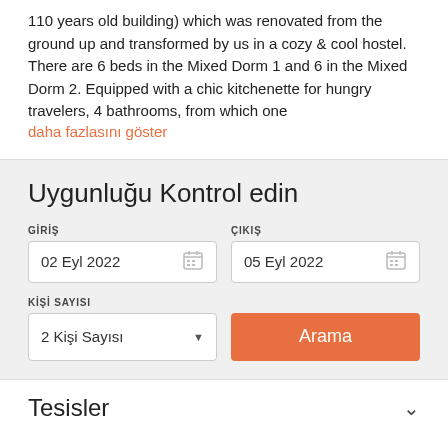110 years old building) which was renovated from the ground up and transformed by us in a cozy & cool hostel. There are 6 beds in the Mixed Dorm 1 and 6 in the Mixed Dorm 2. Equipped with a chic kitchenette for hungry travelers, 4 bathrooms, from which one
daha fazlasını göster
Uygunluğu Kontrol edin
GİRİŞ: 02 Eyl 2022
ÇIKIŞ: 05 Eyl 2022
KİŞİ SAYISI: 2 Kişi Sayısı
Arama
Tesisler